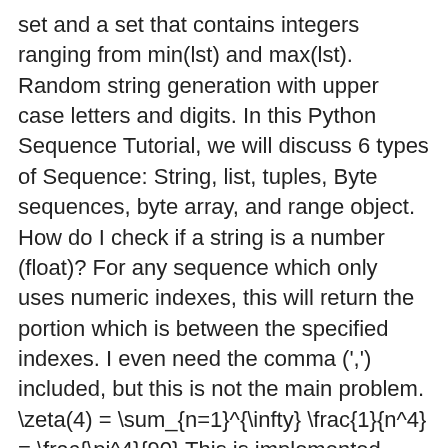set and a set that contains integers ranging from min(lst) and max(lst). Random string generation with upper case letters and digits. In this Python Sequence Tutorial, we will discuss 6 types of Sequence: String, list, tuples, Byte sequences, byte array, and range object. How do I check if a string is a number (float)? For any sequence which only uses numeric indexes, this will return the portion which is between the specified indexes. I even need the comma (',') included, but this is not the main problem. \zeta(4) = \sum_{n=1}^{\infty} \frac{1}{n^4} = \frac{\pi^4}{90} This is implemented using two distinct methods; these are used to allow user-defined classes to support iteration. Procedure. from itertools import cycle, takewhile, accumulate, chain def numbers(start, deltas, max): deltas = cycle(deltas) numbers = accumulate(chain([start], deltas)) return takewhile(lambda x: x <= max, numbers) print(','.join(str(x) for x in numbers(1, [1, 3], 100))) The Collatz Sequence Write a function